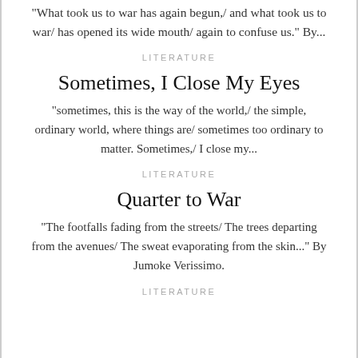"What took us to war has again begun,/ and what took us to war/ has opened its wide mouth/ again to confuse us." By...
LITERATURE
Sometimes, I Close My Eyes
"sometimes, this is the way of the world,/ the simple, ordinary world, where things are/ sometimes too ordinary to matter. Sometimes,/ I close my...
LITERATURE
Quarter to War
"The footfalls fading from the streets/ The trees departing from the avenues/ The sweat evaporating from the skin..." By Jumoke Verissimo.
LITERATURE